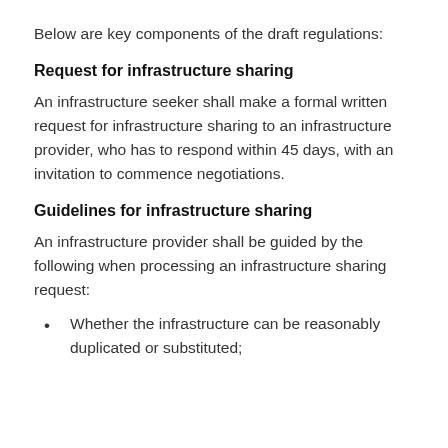Below are key components of the draft regulations:
Request for infrastructure sharing
An infrastructure seeker shall make a formal written request for infrastructure sharing to an infrastructure provider, who has to respond within 45 days, with an invitation to commence negotiations.
Guidelines for infrastructure sharing
An infrastructure provider shall be guided by the following when processing an infrastructure sharing request:
Whether the infrastructure can be reasonably duplicated or substituted;